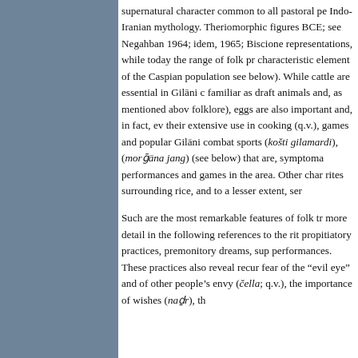supernatural character common to all pastoral pe Indo-Iranian mythology. Theriomorphic figures BCE; see Negahban 1964; idem, 1965; Biscione representations, while today the range of folk pr characteristic element of the Caspian population see below). While cattle are essential in Gilāni c familiar as draft animals and, as mentioned abov folklore), eggs are also important and, in fact, ev their extensive use in cooking (q.v.), games and popular Gilāni combat sports (košti gilamardi), (morḡāna jang) (see below) that are, symptoma performances and games in the area. Other char rites surrounding rice, and to a lesser extent, ser
Such are the most remarkable features of folk tr more detail in the following references to the rit propitiatory practices, premonitory dreams, sup performances. These practices also reveal recur fear of the "evil eye" and of other people's env (čella; q.v.), the importance of wishes (naḏr), th